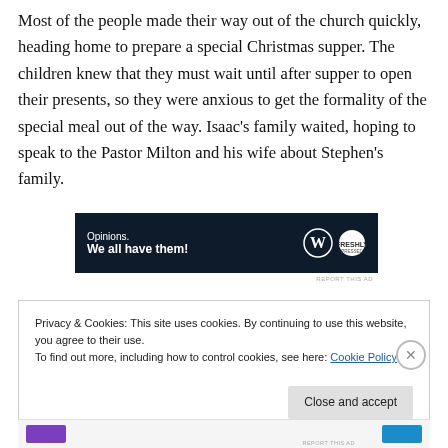Most of the people made their way out of the church quickly, heading home to prepare a special Christmas supper. The children knew that they must wait until after supper to open their presents, so they were anxious to get the formality of the special meal out of the way. Isaac's family waited, hoping to speak to the Pastor Milton and his wife about Stephen's family.
[Figure (other): Dark navy advertisement banner with text 'Opinions. We all have them!' and WordPress and Freshly Press logos on the right.]
REPORT THIS AD
Privacy & Cookies: This site uses cookies. By continuing to use this website, you agree to their use.
To find out more, including how to control cookies, see here: Cookie Policy